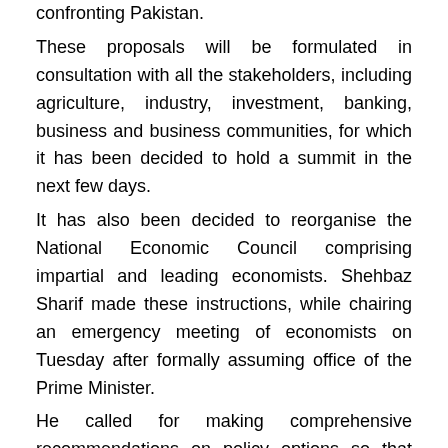confronting Pakistan. These proposals will be formulated in consultation with all the stakeholders, including agriculture, industry, investment, banking, business and business communities, for which it has been decided to hold a summit in the next few days. It has also been decided to reorganise the National Economic Council comprising impartial and leading economists. Shehbaz Sharif made these instructions, while chairing an emergency meeting of economists on Tuesday after formally assuming office of the Prime Minister. He called for making comprehensive recommendations on policy options so that concrete steps can be taken. The prime minister also directed to formulate comprehensive proposals for providing relief to the people and controlling inflation. In view of the challenging economic situation, he directed the setting of medium and long-term fiscal policies and also stressed the presentation of comprehensive policy options